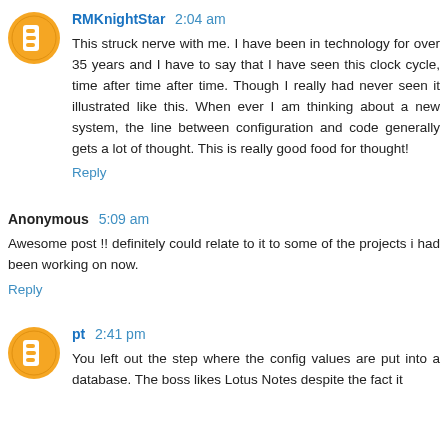RMKnightStar 2:04 am
This struck nerve with me. I have been in technology for over 35 years and I have to say that I have seen this clock cycle, time after time after time. Though I really had never seen it illustrated like this. When ever I am thinking about a new system, the line between configuration and code generally gets a lot of thought. This is really good food for thought!
Reply
Anonymous 5:09 am
Awesome post !! definitely could relate to it to some of the projects i had been working on now.
Reply
pt 2:41 pm
You left out the step where the config values are put into a database. The boss likes Lotus Notes despite the fact it